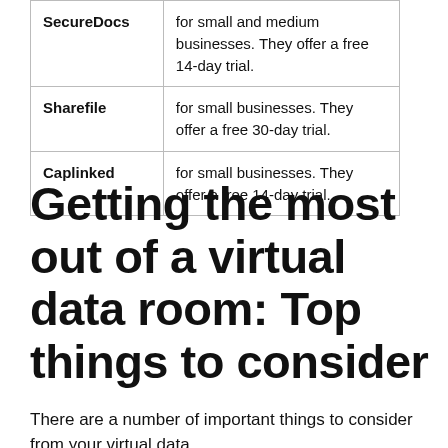|  |  |
| --- | --- |
| SecureDocs | for small and medium businesses. They offer a free 14-day trial. |
| Sharefile | for small businesses. They offer a free 30-day trial. |
| Caplinked | for small businesses. They offer a free 14-day trial. |
Getting the most out of a virtual data room: Top things to consider
There are a number of important things to consider when choosing from your virtual data...